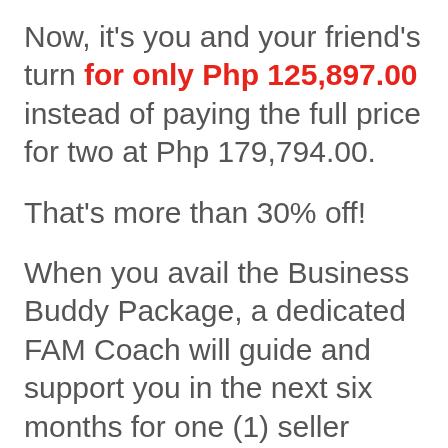Now, it's you and your friend's turn for only Php 125,897.00 instead of paying the full price for two at Php 179,794.00.
That's more than 30% off!
When you avail the Business Buddy Package, a dedicated FAM Coach will guide and support you in the next six months for one (1) seller account only.
This means that if you can't make it to the scheduled coaching call or mastermind session, your business